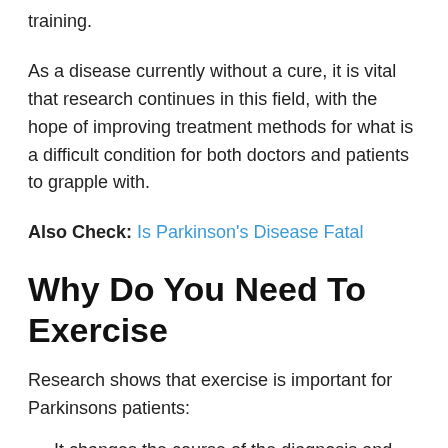training.
As a disease currently without a cure, it is vital that research continues in this field, with the hope of improving treatment methods for what is a difficult condition for both doctors and patients to grapple with.
Also Check: Is Parkinson's Disease Fatal
Why Do You Need To Exercise
Research shows that exercise is important for Parkinsons patients:
It changes the course of the diagnosis and slows progression it can even reverse some symptoms.